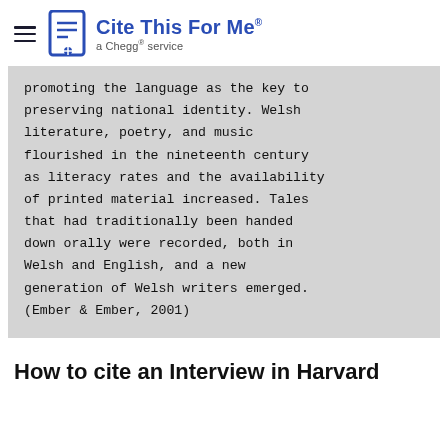Cite This For Me — a Chegg service
promoting the language as the key to preserving national identity. Welsh literature, poetry, and music flourished in the nineteenth century as literacy rates and the availability of printed material increased. Tales that had traditionally been handed down orally were recorded, both in Welsh and English, and a new generation of Welsh writers emerged. (Ember & Ember, 2001)
How to cite an Interview in Harvard